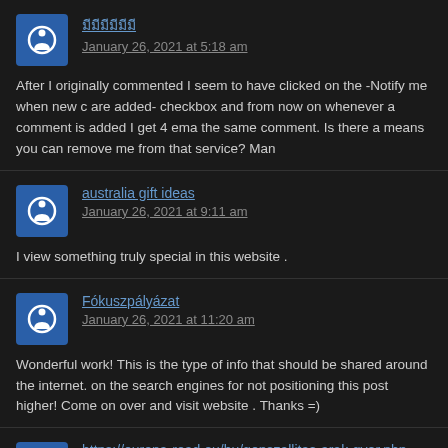มีมีมีมีมีมี
January 26, 2021 at 5:18 am
After I originally commented I seem to have clicked on the -Notify me when new c are added- checkbox and from now on whenever a comment is added I get 4 ema the same comment. Is there a means you can remove me from that service? Man
australia gift ideas
January 26, 2021 at 9:11 am
I view something truly special in this website .
Fókuszpályázat
January 26, 2021 at 11:20 am
Wonderful work! This is the type of info that should be shared around the internet. on the search engines for not positioning this post higher! Come on over and visit website . Thanks =)
https://europa-road.eu/hu/gepszallitas-arak-gyor.php